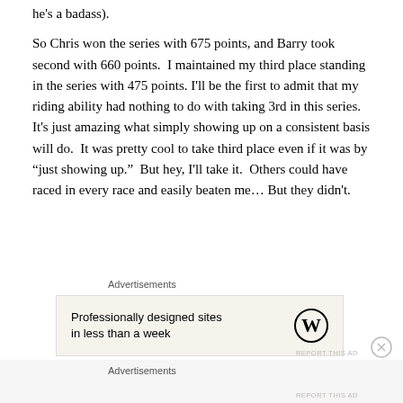he's a badass).
So Chris won the series with 675 points, and Barry took second with 660 points.  I maintained my third place standing in the series with 475 points. I'll be the first to admit that my riding ability had nothing to do with taking 3rd in this series.  It's just amazing what simply showing up on a consistent basis will do.  It was pretty cool to take third place even if it was by “just showing up.”  But hey, I'll take it.  Others could have raced in every race and easily beaten me… But they didn't.
Advertisements
[Figure (other): WordPress advertisement banner: 'Professionally designed sites in less than a week' with WordPress logo]
Advertisements